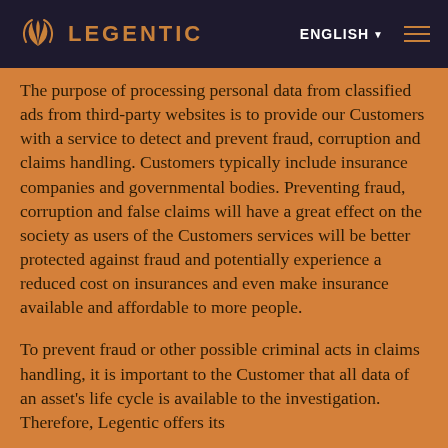LEGENTIC | ENGLISH
The purpose of processing personal data from classified ads from third-party websites is to provide our Customers with a service to detect and prevent fraud, corruption and claims handling. Customers typically include insurance companies and governmental bodies. Preventing fraud, corruption and false claims will have a great effect on the society as users of the Customers services will be better protected against fraud and potentially experience a reduced cost on insurances and even make insurance available and affordable to more people.
To prevent fraud or other possible criminal acts in claims handling, it is important to the Customer that all data of an asset's life cycle is available to the investigation. Therefore, Legentic offers its